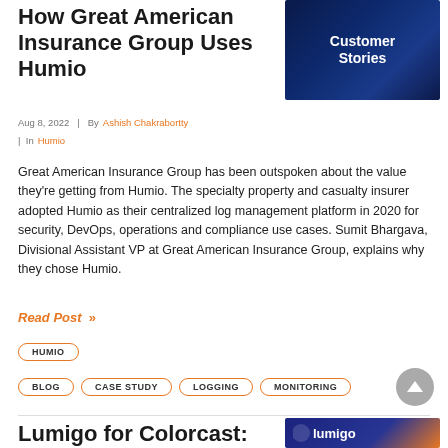How Great American Insurance Group Uses Humio
[Figure (screenshot): Customer Stories banner image with blue bokeh background and bold white text reading 'Customer Stories']
Aug 8, 2022  |  By Ashish Chakrabortty
| In Humio
Great American Insurance Group has been outspoken about the value they're getting from Humio. The specialty property and casualty insurer adopted Humio as their centralized log management platform in 2020 for security, DevOps, operations and compliance use cases. Sumit Bhargava, Divisional Assistant VP at Great American Insurance Group, explains why they chose Humio.
Read Post »
HUMIO
BLOG
CASE STUDY
LOGGING
MONITORING
Lumigo for Colorcast: A Case of Moni…
[Figure (logo): Lumigo logo on blue and orange background]